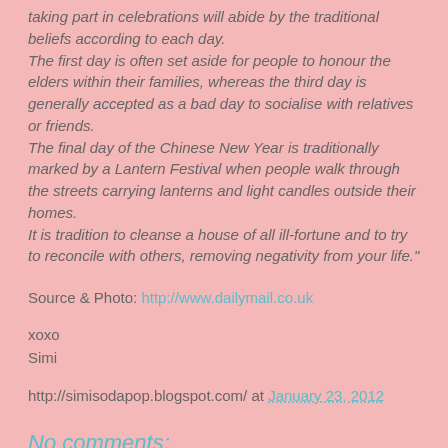taking part in celebrations will abide by the traditional beliefs according to each day. The first day is often set aside for people to honour the elders within their families, whereas the third day is generally accepted as a bad day to socialise with relatives or friends. The final day of the Chinese New Year is traditionally marked by a Lantern Festival when people walk through the streets carrying lanterns and light candles outside their homes. It is tradition to cleanse a house of all ill-fortune and to try to reconcile with others, removing negativity from your life."
Source & Photo: http://www.dailymail.co.uk
xoxo
Simi
http://simisodapop.blogspot.com/ at January 23, 2012
No comments: